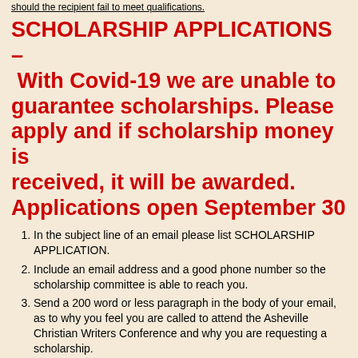should the recipient fail to meet qualifications.
SCHOLARSHIP APPLICATIONS – With Covid-19 we are unable to guarantee scholarships. Please apply and if scholarship money is received, it will be awarded. Applications open September 30
In the subject line of an email please list SCHOLARSHIP APPLICATION.
Include an email address and a good phone number so the scholarship committee is able to reach you.
Send a 200 word or less paragraph in the body of your email, as to why you feel you are called to attend the Asheville Christian Writers Conference and why you are requesting a scholarship.
Email to cindybootcamp@gmail.com